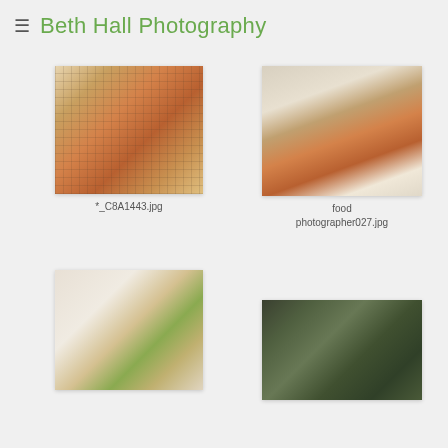≡ Beth Hall Photography
[Figure (photo): Two pieces of salmon on a metal baking rack on a sheet pan, viewed from above, with herbs]
*_C8A1443.jpg
[Figure (photo): Plated salmon fillet on white plate with grain topping, greens, orange squash cubes, and red berry garnish]
food photographer027.jpg
[Figure (photo): Stuffed pepper or squash dish on baking tray with herbs, white plate setting]
[Figure (photo): Dark pan or skillet with green vegetables, viewed from above]